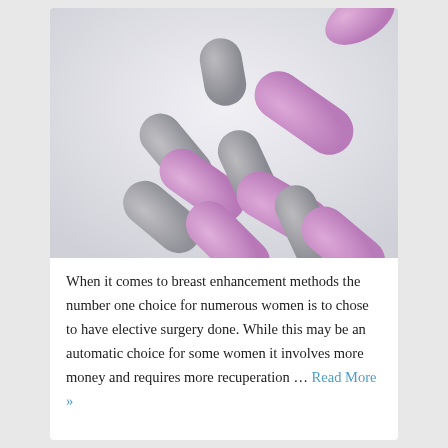[Figure (photo): Close-up photograph of purple and gray oval/rounded pill tablets piled together on a white background.]
When it comes to breast enhancement methods the number one choice for numerous women is to chose to have elective surgery done. While this may be an automatic choice for some women it involves more money and requires more recuperation … Read More »